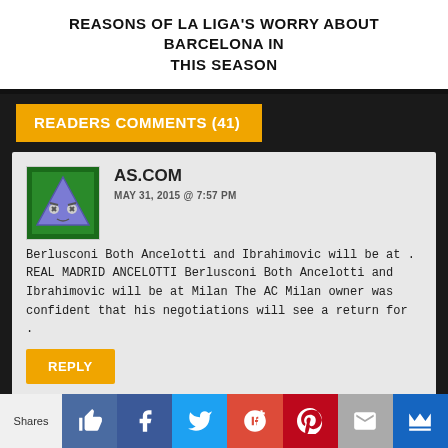REASONS OF LA LIGA'S WORRY ABOUT BARCELONA IN THIS SEASON
READERS COMMENTS (41)
AS.COM
MAY 31, 2015 @ 7:57 PM
Berlusconi Both Ancelotti and Ibrahimovic will be at . REAL MADRID ANCELOTTI Berlusconi Both Ancelotti and Ibrahimovic will be at Milan The AC Milan owner was confident that his negotiations will see a return for .
REPLY
Shares